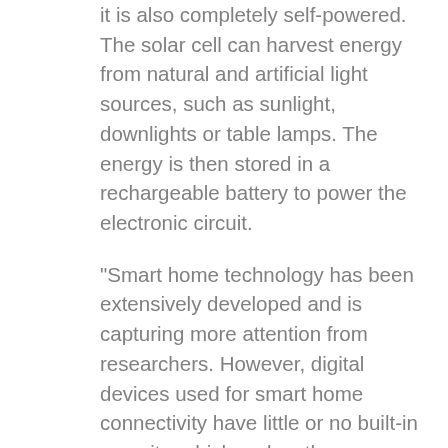it is also completely self-powered. The solar cell can harvest energy from natural and artificial light sources, such as sunlight, downlights or table lamps. The energy is then stored in a rechargeable battery to power the electronic circuit.
“Smart home technology has been extensively developed and is capturing more attention from researchers. However, digital devices used for smart home connectivity have little or no built-in security, which makes them vulnerable to cyber attack,” said Associate Professor Mehmet Yuce, lead researcher in Electrical and Computer Systems Engineering at Monash University.
“The COVID-19 pandemic has transformed our work and home lives forever. A user-friendly interface system to control our home systems and appliances, and to keep our homes secure, has never been more critical.
“The technology can also be useful to secure